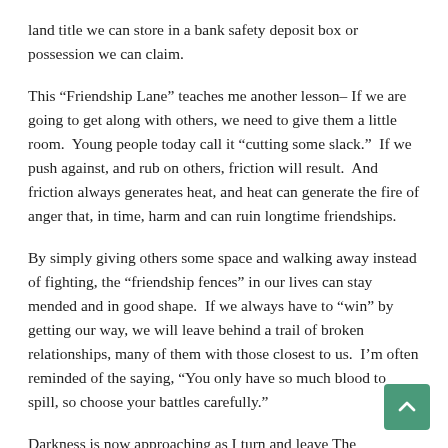land title we can store in a bank safety deposit box or possession we can claim.
This “Friendship Lane” teaches me another lesson– If we are going to get along with others, we need to give them a little room.  Young people today call it “cutting some slack.”  If we push against, and rub on others, friction will result.  And friction always generates heat, and heat can generate the fire of anger that, in time, harm and can ruin longtime friendships.
By simply giving others some space and walking away instead of fighting, the “friendship fences” in our lives can stay mended and in good shape.  If we always have to “win” by getting our way, we will leave behind a trail of broken relationships, many of them with those closest to us.  I’m often reminded of the saying, “You only have so much blood to spill, so choose your battles carefully.”
Darkness is now approaching as I turn and leave The Friendship Lane.  Glancing back one last time, I can visualize in my mind the long ago scene of Sereno Hanchey and Lionel Green walking their respective fields at sunset.  They come upon each other and stop to